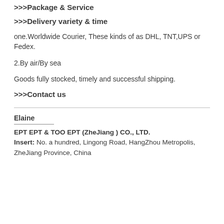>>>Package & Service
>>>Delivery variety & time
one.Worldwide Courier, These kinds of as DHL, TNT,UPS or Fedex.
2.By air/By sea
Goods fully stocked, timely and successful shipping.
>>>Contact us
Elaine
EPT EPT & TOO EPT (ZheJiang ) CO., LTD.
Insert: No. a hundred, Lingong Road, HangZhou Metropolis, ZheJiang Province, China